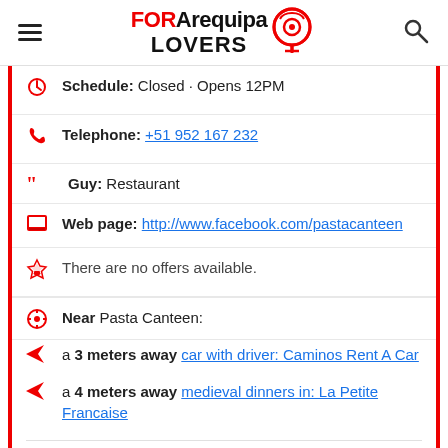FOR Arequipa LOVERS
Schedule: Closed · Opens 12PM
Telephone: +51 952 167 232
Guy: Restaurant
Web page: http://www.facebook.com/pastacanteen
There are no offers available.
Near Pasta Canteen:
a 3 meters away car with driver: Caminos Rent A Car
a 4 meters away medieval dinners in: La Petite Francaise
Are you the owner of the business? PROMOTE IT!